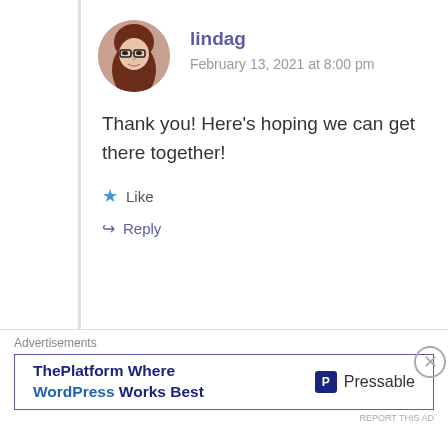[Figure (photo): Circular avatar of a woman with red hair and glasses (lindag)]
lindag
February 13, 2021 at 8:00 pm
Thank you! Here’s hoping we can get there together!
★ Like
↪ Reply
[Figure (photo): Circular avatar of a woman with glasses and blonde hair (Stephanie Lueras)]
Stephanie Lueras
Advertisements
ThePlatform Where WordPress Works Best
Pressable